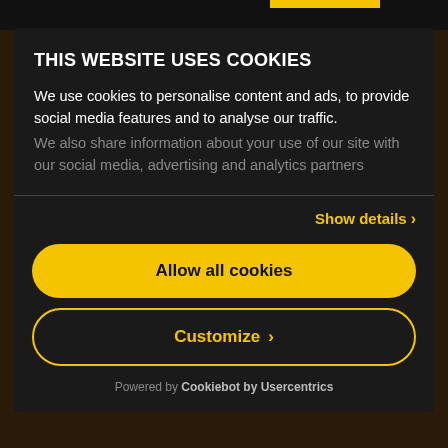THIS WEBSITE USES COOKIES
We use cookies to personalise content and ads, to provide social media features and to analyse our traffic. We also share information about your use of our site with our social media, advertising and analytics partners
Show details
Allow all cookies
Customize
Powered by Cookiebot by Usercentrics